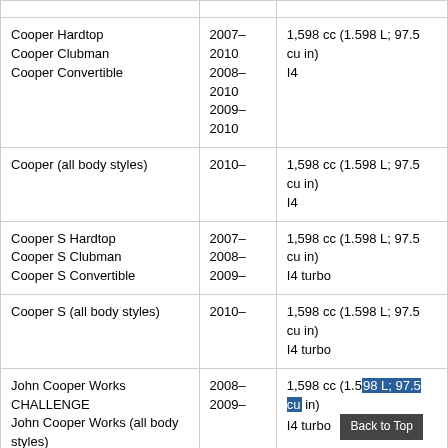| Model | Years | Displacement |
| --- | --- | --- |
| Cooper Hardtop
Cooper Clubman
Cooper Convertible | 2007–2010
2008–2010
2009–2010 | 1,598 cc (1.598 L; 97.5 cu in)
I4 |
| Cooper (all body styles) | 2010– | 1,598 cc (1.598 L; 97.5 cu in)
I4 |
| Cooper S Hardtop
Cooper S Clubman
Cooper S Convertible | 2007–
2008–
2009– | 1,598 cc (1.598 L; 97.5 cu in)
I4 turbo |
| Cooper S (all body styles) | 2010– | 1,598 cc (1.598 L; 97.5 cu in)
I4 turbo |
| John Cooper Works CHALLENGE
John Cooper Works (all body styles) | 2008–
2009– | 1,598 cc (1.598 L; 97.5 cu in)
I4 turbo |
| Diesel engines |  |  |
|  | 2007– | 1,364 cc (1.364 L; 83.2 cu in) |